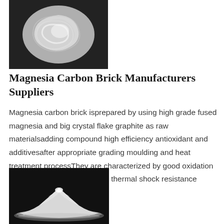[Figure (photo): Black and white photo of white cream or paste material swirled on a dark background, viewed from above.]
Magnesia Carbon Brick Manufacturers Suppliers
Magnesia carbon brick isprepared by using high grade fused magnesia and big crystal flake graphite as raw materialsadding compound high efficiency antioxidant and additivesafter appropriate grading moulding and heat treatment processThey are characterized by good oxidation resistanceslagresistance and thermal shock resistance
[Figure (photo): Black and white photo of a white powder mound/pile on a dark background.]